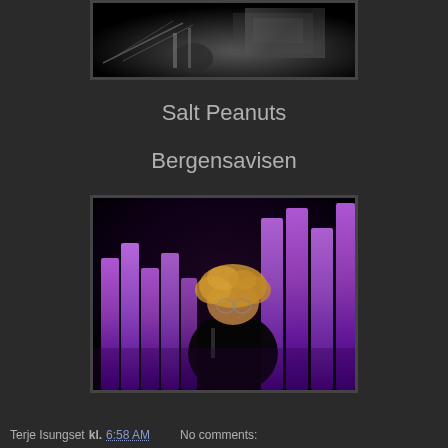[Figure (photo): Black and white photo of a musician performing on stage with equipment visible]
Salt Peanuts
Bergensavisen
[Figure (photo): Color photo of a musician with curly blonde hair performing on stage surrounded by purple light bar decorations]
Terje Isungset kl. 6:58 AM   No comments: